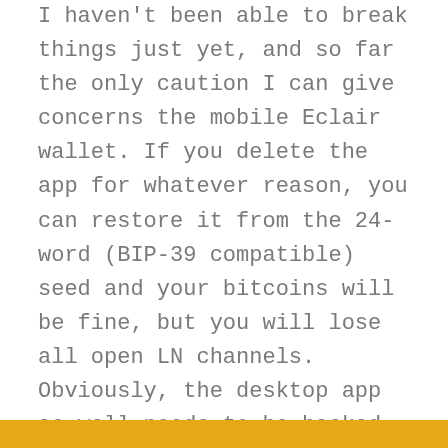I haven't been able to break things just yet, and so far the only caution I can give concerns the mobile Eclair wallet. If you delete the app for whatever reason, you can restore it from the 24-word (BIP-39 compatible) seed and your bitcoins will be fine, but you will lose all open LN channels. Obviously, the desktop app as well needs to be backed up somehow. I will write more about this.
Update #01: I was able to experience a bitcoin-losing event, although I don't know why exactly. Using the channel between my mobile and desktop node (total capacity 0.0025 BTC less 0.0005 BTC for a payment I already made), two